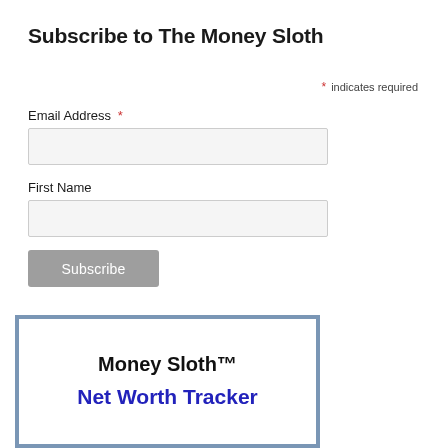Subscribe to The Money Sloth
* indicates required
Email Address *
First Name
Subscribe
[Figure (other): Money Sloth Net Worth Tracker banner with steel blue border, white background, bold black title 'Money Sloth™' and bold blue subtitle 'Net Worth Tracker']